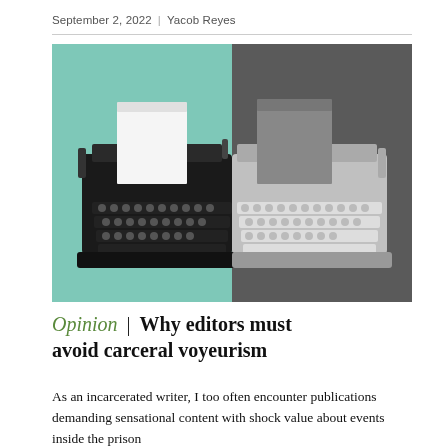September 2, 2022 | Yacob Reyes
[Figure (photo): Split image of a typewriter: left half shows a black typewriter with white paper on a teal/mint background; right half shows the same typewriter in black-and-white/grayscale on a dark gray background.]
Opinion | Why editors must avoid carceral voyeurism
As an incarcerated writer, I too often encounter publications demanding sensational content with shock value about events inside the prison